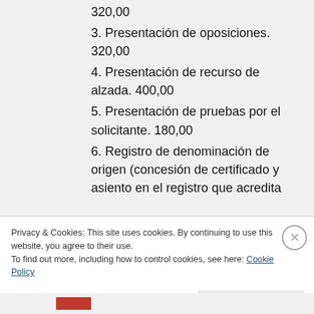320,00
3. Presentación de oposiciones. 320,00
4. Presentación de recurso de alzada. 400,00
5. Presentación de pruebas por el solicitante. 180,00
6. Registro de denominación de origen (concesión de certificado y asiento en el registro que acredita
Privacy & Cookies: This site uses cookies. By continuing to use this website, you agree to their use.
To find out more, including how to control cookies, see here: Cookie Policy